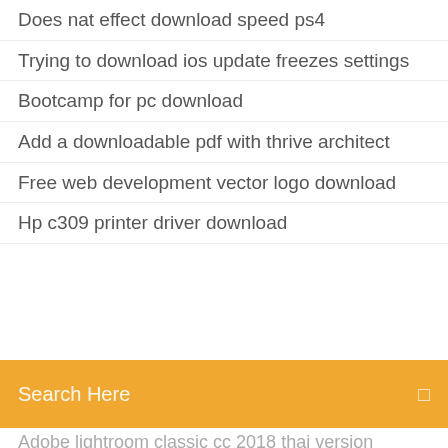Does nat effect download speed ps4
Trying to download ios update freezes settings
Bootcamp for pc download
Add a downloadable pdf with thrive architect
Free web development vector logo download
Hp c309 printer driver download
[Figure (screenshot): Orange search bar overlay with text 'Search Here' and a small icon on the right]
Adobe lightroom classic cc 2018 thai version download
Download whatsapp gb for android
Ms office 2007 download for pc
Why cant i download fortnite on ps4
Pk gupta biotechnology pdf free download
Cardiovascular physiology pdf free download
Nulls clash of clans apk download latest version
How to download apps to android phone free
Mp3 youtube video converter free download
Mp4 juice video download
Best way to protect downloading torrents